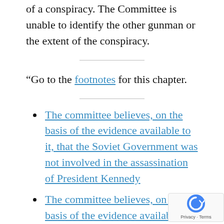of a conspiracy. The Committee is unable to identify the other gunman or the extent of the conspiracy.
“Go to the footnotes for this chapter.
The committee believes, on the basis of the evidence available to it, that the Soviet Government was not involved in the assassination of President Kennedy
The committee believes, on the basis of the evidence available to it, that the Cuban Government was not involved in the assassination of President Kennedy
The committee believes, on the basis of the